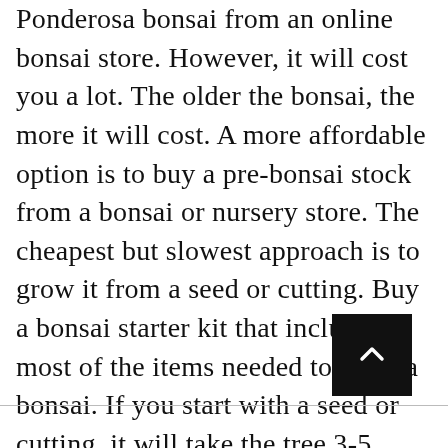Ponderosa bonsai from an online bonsai store. However, it will cost you a lot. The older the bonsai, the more it will cost. A more affordable option is to buy a pre-bonsai stock from a bonsai or nursery store. The cheapest but slowest approach is to grow it from a seed or cutting. Buy a bonsai starter kit that includes most of the items needed to grow a bonsai. If you start with a seed or cutting, it will take the tree 3-5 years to reach the level where it can be styled in the bonsai form. Once the tree is cultivated, you can start styling and shaping it.
[Figure (other): Black square button with upward-pointing chevron arrow, used as a scroll-to-top control]